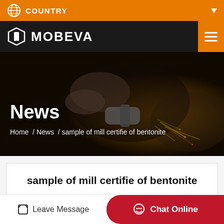COUNTRY
[Figure (logo): MOBEVA company logo in white on dark nav bar with orange hamburger menu]
[Figure (photo): Industrial worker using an angle grinder with sparks flying, used as hero background image]
News
Home / News / sample of mill certifie of bentonite
sample of mill certifie of bentonite
Leave Message
Chat Online